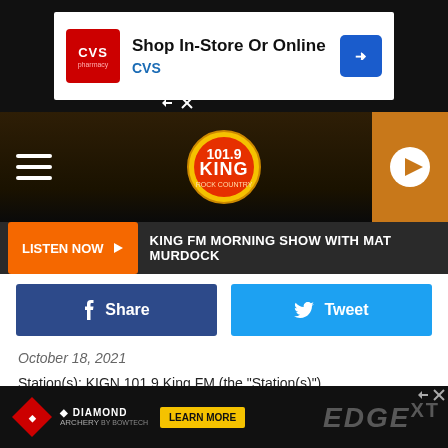[Figure (screenshot): CVS Pharmacy banner ad: 'Shop In-Store Or Online / CVS' with CVS logo and navigation arrow icon]
[Figure (logo): 101.9 KING FM radio station logo centered in dark navigation bar with hamburger menu and play button]
LISTEN NOW ▶  KING FM MORNING SHOW WITH MAT MURDOCK
[Figure (screenshot): Facebook Share button (dark blue) and Twitter Tweet button (light blue)]
October 18, 2021
Station(s): KIGN 101.9 King FM (the "Station(s)")
Station Address: 1912 Capitol Ave #300
Station City, State, Zip Code: Cheyenne, WY 82001
Station Telephone: (307) 632-4400
Townsquare Media, Inc., its subsidiaries and affiliated companies (together the "Company"), will conduct the
[Figure (screenshot): Diamond Archery EDGE XT advertisement banner at the bottom with Learn More button]